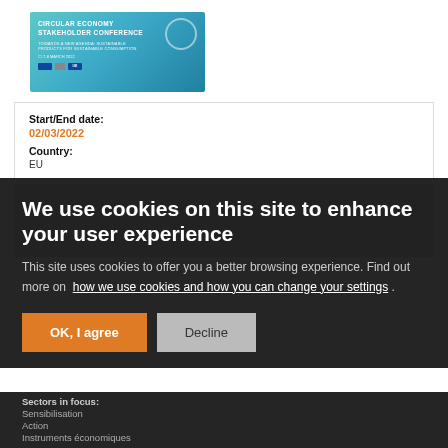[Figure (illustration): Circular Economy Stakeholder Conference banner with teal/blue gradient background and conference title text]
Start/End date:
02/03/2022
Country:
EU
City:
Brussels (online)
Dimension:
Production
Consumption
Sectors in focus:
Sensibilisation
Action
Instruments économiques
Scope:
EU
Groupe de coordi...
Coordination Group activity type:
Conférence annuelle
Séance de travail en atelier
We use cookies on this site to enhance your user experience
This site uses cookies to offer you a better browsing experience. Find out more on how we use cookies and how you can change your settings .